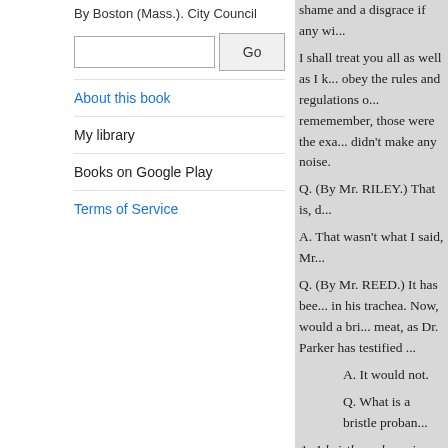By Boston (Mass.). City Council
Search box with Go button
About this book
My library
Books on Google Play
Terms of Service
shame and a disgrace if any wi... I shall treat you all as well as I k... obey the rules and regulations o... rememember, those were the exa... didn't make any noise.

Q. (By Mr. RILEY.) That is, d...

A. That wasn't what I said, Mr...

Q. (By Mr. REED.) It has bee... in his trachea. Now, would a bri... meat, as Dr. Parker has testified...

A. It would not.
Q. What is a bristle proban...

A. A bristle probang is an instr... in the esophagus not the trachea.

Q. Well, what would be the pr...

Well, probably jam the piece o... bristle probang ?

A. Well, it is an instrument ab... sponge about half as large as a m... bristles – when it is closed up - p... through it, so that when you pro...